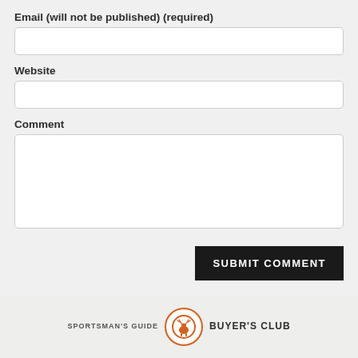Email (will not be published) (required)
Website
Comment
SUBMIT COMMENT
[Figure (logo): Sportsman's Guide Buyer's Club logo: orange circle with a deer silhouette, flanked by text 'SPORTSMAN'S GUIDE' on the left and 'BUYER'S CLUB' on the right]